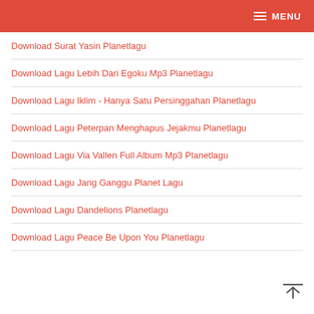MENU
Download Surat Yasin Planetlagu
Download Lagu Lebih Dari Egoku Mp3 Planetlagu
Download Lagu Iklim - Hanya Satu Persinggahan Planetlagu
Download Lagu Peterpan Menghapus Jejakmu Planetlagu
Download Lagu Via Vallen Full Album Mp3 Planetlagu
Download Lagu Jang Ganggu Planet Lagu
Download Lagu Dandelions Planetlagu
Download Lagu Peace Be Upon You Planetlagu